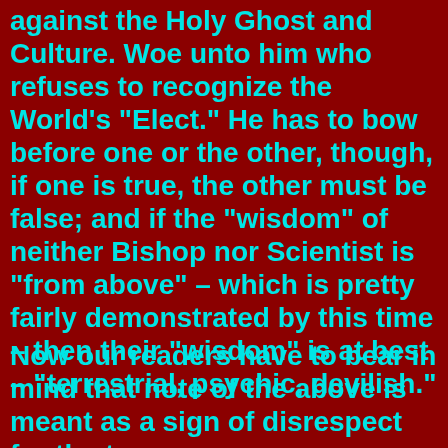against the Holy Ghost and Culture. Woe unto him who refuses to recognize the World's "Elect." He has to bow before one or the other, though, if one is true, the other must be false; and if the "wisdom" of neither Bishop nor Scientist is "from above" – which is pretty fairly demonstrated by this time – then their "wisdom" is at best – "terrestrial, psychic, devilish."
Now our readers have to bear in mind that note of the above is meant as a sign of disrespect for the true